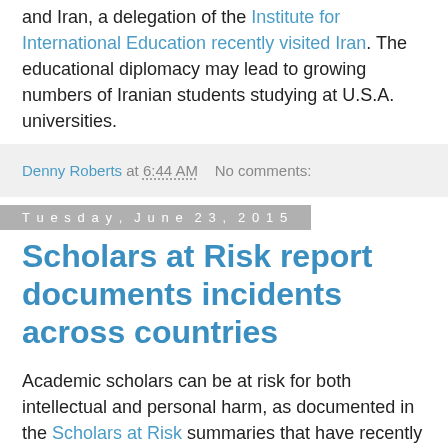and Iran, a delegation of the Institute for International Education recently visited Iran. The educational diplomacy may lead to growing numbers of Iranian students studying at U.S.A. universities.
Denny Roberts at 6:44 AM   No comments:
Tuesday, June 23, 2015
Scholars at Risk report documents incidents across countries
Academic scholars can be at risk for both intellectual and personal harm, as documented in the Scholars at Risk summaries that have recently been made available. Championing ideas that counter prevailing cultural or political perspectives can draw attention to and place scholars at risk of having their ideas repressed or worse.
Denny Roberts at 6:51 AM   No comments: